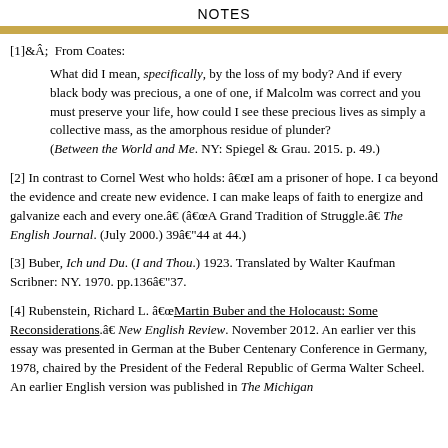NOTES
[1]Â From Coates: What did I mean, specifically, by the loss of my body? And if every black body was precious, a one of one, if Malcolm was correct and you must preserve your life, how could I see these precious lives as simply a collective mass, as the amorphous residue of plunder? (Between the World and Me. NY: Spiegel & Grau. 2015. p. 49.)
[2] In contrast to Cornel West who holds: “I am a prisoner of hope. I can go beyond the evidence and create new evidence. I can make leaps of faith to energize and galvanize each and every one.” (“A Grand Tradition of Struggle.” The English Journal. (July 2000.) 39–44 at 44.)
[3] Buber, Ich und Du. (I and Thou.) 1923. Translated by Walter Kaufmann. Scribner: NY. 1970. pp.136–37.
[4] Rubenstein, Richard L. “Martin Buber and the Holocaust: Some Reconsiderations.” New English Review. November 2012. An earlier version of this essay was presented in German at the Buber Centenary Conference in Germany, 1978, chaired by the President of the Federal Republic of Germany, Walter Scheel. An earlier English version was published in The Michigan